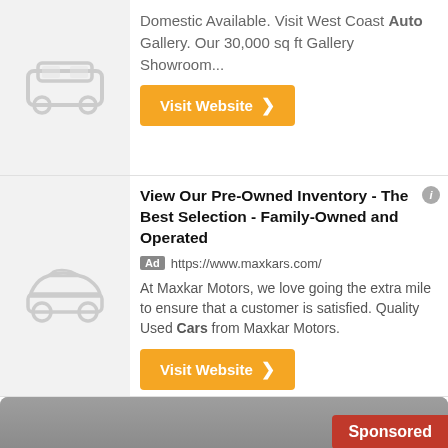Domestic Available. Visit West Coast Auto Gallery. Our 30,000 sq ft Gallery Showroom...
Visit Website ❯
View Our Pre-Owned Inventory - The Best Selection - Family-Owned and Operated
Ad https://www.maxkars.com/
At Maxkar Motors, we love going the extra mile to ensure that a customer is satisfied. Quality Used Cars from Maxkar Motors.
Visit Website ❯
[Figure (photo): Orange Lamborghini sports car in front of a gray wall, with a red Sponsored badge in upper right and a dark See photo button in lower right]